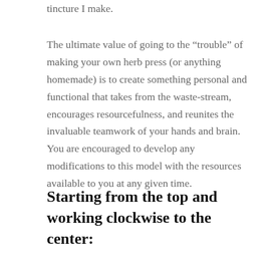tincture I make.
The ultimate value of going to the “trouble” of making your own herb press (or anything homemade) is to create something personal and functional that takes from the waste-stream, encourages resourcefulness, and reunites the invaluable teamwork of your hands and brain. You are encouraged to develop any modifications to this model with the resources available to you at any given time.
Starting from the top and working clockwise to the center: